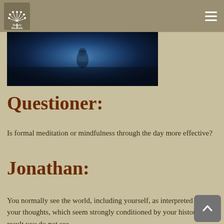Simply Meditate
[Figure (photo): Dark blue atmospheric photo, likely showing a person meditating or a moody scene with blue tones]
Questioner:
Is formal meditation or mindfulness through the day more effective?
Jonathan:
You normally see the world, including yourself, as interpreted by your thoughts, which seem strongly conditioned by your history. As a result you do not see